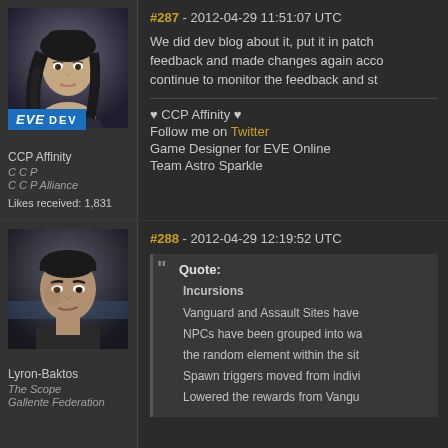#287 - 2012-04-29 11:51:07 UTC
We did dev blog about it, put it in patch feedback and made changes again according to continue to monitor the feedback and st...
[Figure (photo): Avatar of CCP Affinity, a female character with dark hair and EVE DEV badge]
CCP Affinity
C C P
C C P Alliance
Likes received: 1,831
♥ CCP Affinity ♥
Follow me on Twitter
Game Designer for EVE Online
Team Astro Sparkle
#288 - 2012-04-29 12:19:52 UTC
[Figure (photo): Avatar of Lyron-Baktos, a male character with short dark hair]
Lyron-Baktos
The Scope
Gallente Federation
Quote: Incursions
Vanguard and Assault Sites have...
NPCs have been grouped into wa...
the random element within the sit...
Spawn triggers moved from indivi...
Lowered the rewards from Vangu...